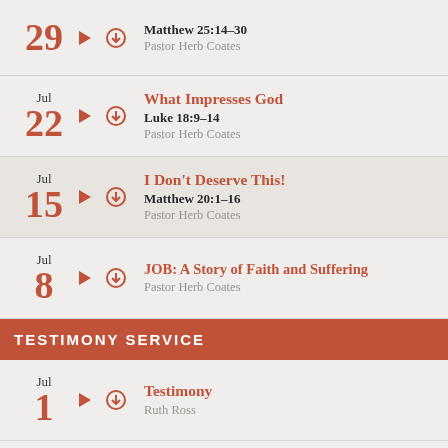29 | Matthew 25:14-30 | Pastor Herb Coates
Jul 22 | What Impresses God | Luke 18:9-14 | Pastor Herb Coates
Jul 15 | I Don't Deserve This! | Matthew 20:1-16 | Pastor Herb Coates
Jul 8 | JOB: A Story of Faith and Suffering | Pastor Herb Coates
TESTIMONY SERVICE
Jul 1 | Testimony | Ruth Ross
Jul | Testimony